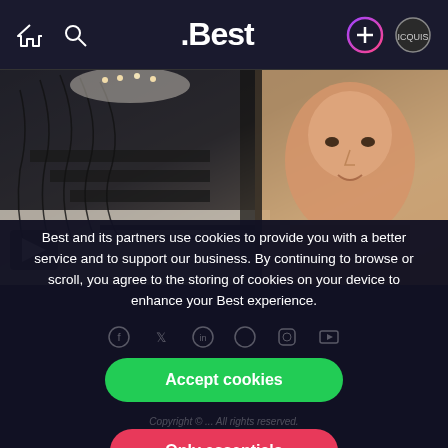.Best — navigation bar with home icon, search icon, .Best logo, plus button, profile icon
[Figure (photo): Hero image showing an ornate interior staircase with black wrought-iron railings on the left, and a man (John Cena) smiling on the right, overlaid with a play button icon]
Best and its partners use cookies to provide you with a better service and to support our business. By continuing to browse or scroll, you agree to the storing of cookies on your device to enhance your Best experience.
Accept cookies
Only essentials
Copyright © ... All rights reserved.
Privacy   Guidelines   ...   Terms of use
Legal Information
Learn more about our privacy policy.